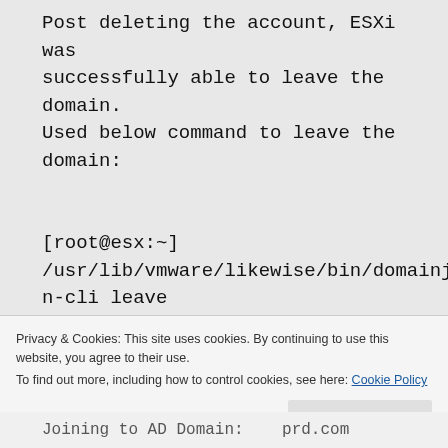Post deleting the account, ESXi was successfully able to leave the domain. Used below command to leave the domain:

[root@esx:~]
/usr/lib/vmware/likewise/bin/domainjoin-cli leave
- Used below command to add the ESXi back to the domain which was successful.
Privacy & Cookies: This site uses cookies. By continuing to use this website, you agree to their use.
To find out more, including how to control cookies, see here: Cookie Policy
Joining to AD Domain:    prd.com